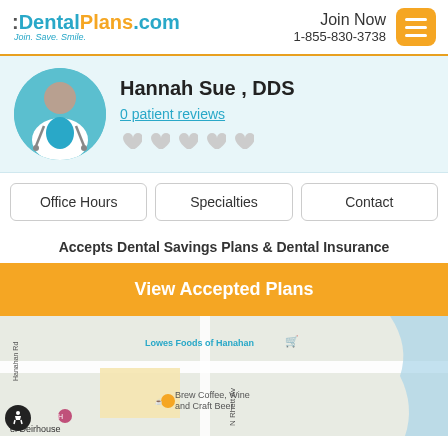:DentalPlans.com Join. Save. Smile. | Join Now 1-855-830-3738
Hannah Sue , DDS
0 patient reviews
Office Hours | Specialties | Contact
Accepts Dental Savings Plans & Dental Insurance
View Accepted Plans
[Figure (map): Google Maps view showing Lowes Foods of Hanahan, Brew Coffee Wine and Craft Beer, N Rhett Ave, and Hanahan Rd area]